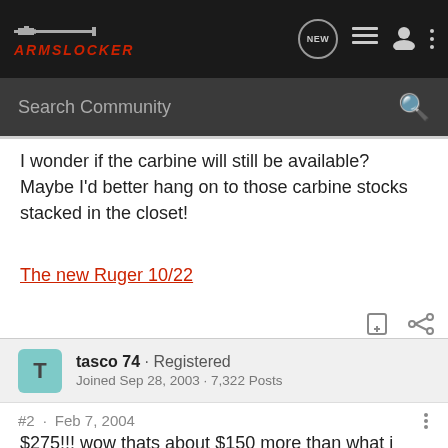ARMSLOCKER
I wonder if the carbine will still be available? Maybe I'd better hang on to those carbine stocks stacked in the closet!
The new Ruger 10/22
tasco 74 · Registered
Joined Sep 28, 2003 · 7,322 Posts
#2 · Feb 7, 2004
$275!!! wow thats about $150 more than what i paid for my base 1022 when i wanted to start on my heavy barrel custom